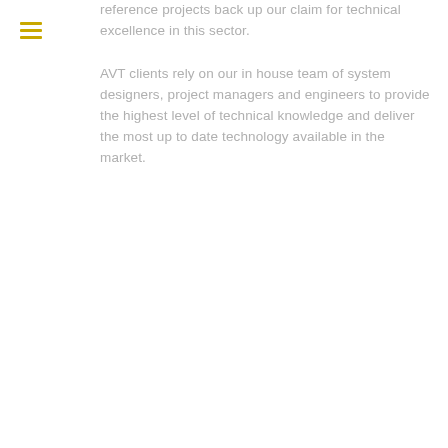[Figure (other): Hamburger menu icon consisting of three horizontal yellow/gold lines]
reference projects back up our claim for technical excellence in this sector.
AVT clients rely on our in house team of system designers, project managers and engineers to provide the highest level of technical knowledge and deliver the most up to date technology available in the market.